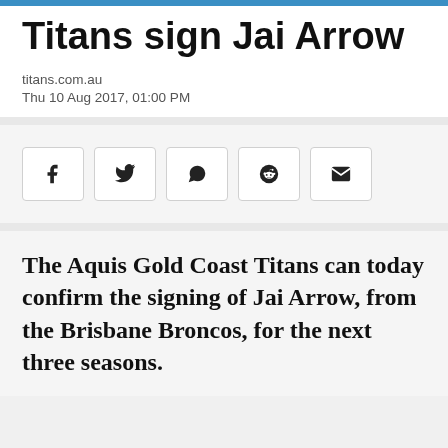Titans sign Jai Arrow
titans.com.au
Thu 10 Aug 2017, 01:00 PM
[Figure (other): Social share buttons: Facebook, Twitter, WhatsApp, Reddit, Email]
The Aquis Gold Coast Titans can today confirm the signing of Jai Arrow, from the Brisbane Broncos, for the next three seasons.